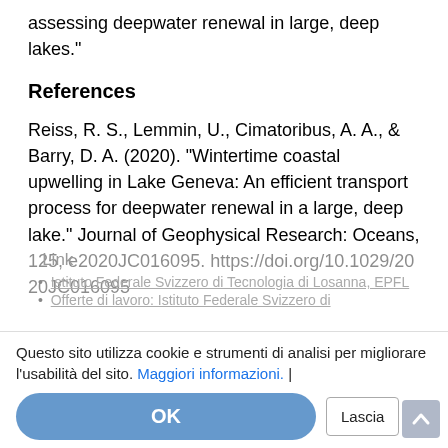assessing deepwater renewal in large, deep lakes."
References
Reiss, R. S., Lemmin, U., Cimatoribus, A. A., & Barry, D. A. (2020). "Wintertime coastal upwelling in Lake Geneva: An efficient transport process for deepwater renewal in a large, deep lake." Journal of Geophysical Research: Oceans, 125, e2020JC016095. https://doi.org/10.1029/2020JC016095
Questo sito utilizza cookie e strumenti di analisi per migliorare l'usabilità del sito. Maggiori informazioni. |
Istituto Federale Svizzero di Tecnologia di Losanna, EPFL
Offerte di lavoro: Istituto Federale Svizzero di